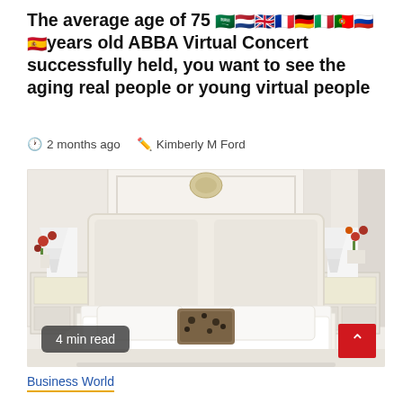The average age of 75 years old ABBA Virtual Concert successfully held, you want to see the aging real people or young virtual people
2 months ago  Kimberly M Ford
[Figure (photo): A bright, white bedroom with a large upholstered bed with white bedding and a leopard print accent pillow. Two white nightstands with lamps flank the bed. A decorative item hangs above the headboard. The room has white paneled walls.]
4 min read
Business World